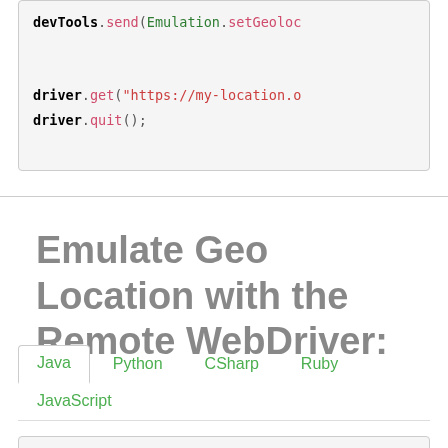devTools.send(Emulation.setGeoloc
driver.get("https://my-location.o
driver.quit();
Emulate Geo Location with the Remote WebDriver:
Java | Python | CSharp | Ruby | JavaScript | Kotlin